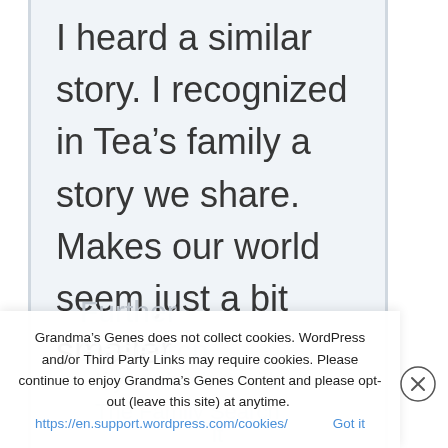I heard a similar story. I recognized in Tea’s family a story we share. Makes our world seem just a bit smaller.
Further Research
If you check in with The Family Search
Grandma's Genes does not collect cookies. WordPress and/or Third Party Links may require cookies. Please continue to enjoy Grandma's Genes Content and please opt-out (leave this site) at anytime. https://en.support.wordpress.com/cookies/ Got it